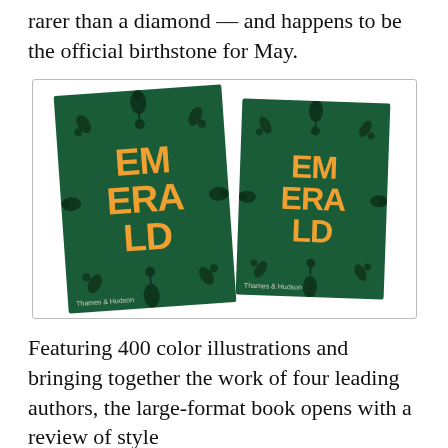rarer than a diamond — and happens to be the official birthstone for May.
[Figure (photo): Two copies of the book 'Emerald' with dark green covers featuring large gold/orange block letters spelling EMERALD arranged in a grid pattern, with black decorative floral/tassel ornament overlaid. Left copy is slightly larger and tilted left; right copy is slightly smaller and tilted right. Both show 'Thames & Hudson' publisher name at bottom left. Image is inside a thin bordered box.]
Featuring 400 color illustrations and bringing together the work of four leading authors, the large-format book opens with a review of style